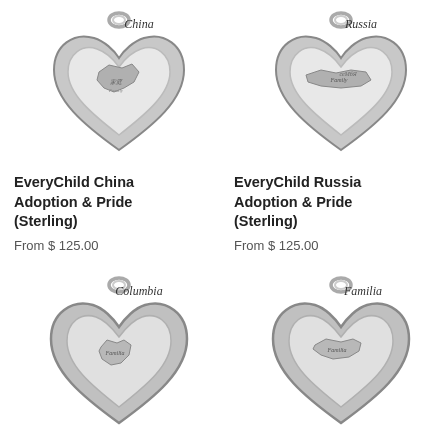[Figure (photo): Silver heart-shaped charm with China country map inside, labeled 'China' at top in script]
EveryChild China Adoption & Pride (Sterling)
From $ 125.00
[Figure (photo): Silver heart-shaped charm with Russia country map inside, labeled 'Russia' at top in script]
EveryChild Russia Adoption & Pride (Sterling)
From $ 125.00
[Figure (photo): Silver heart-shaped charm with Columbia country map inside, labeled 'Columbia' at top in script]
[Figure (photo): Silver heart-shaped charm with Familia map inside, labeled 'Familia' at top in script]